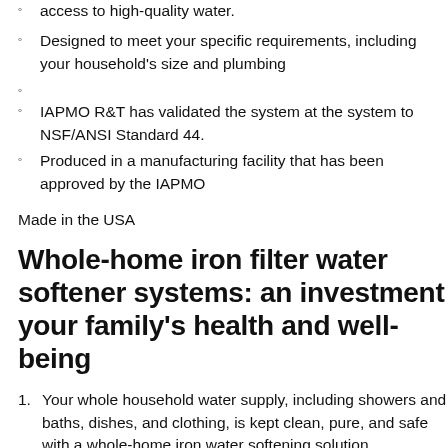access to high-quality water.
Designed to meet your specific requirements, including your household's size and plumbing
IAPMO R&T has validated the system at the system to NSF/ANSI Standard 44.
Produced in a manufacturing facility that has been approved by the IAPMO
Made in the USA
Whole-home iron filter water softener systems: an investment your family's health and well-being
Your whole household water supply, including showers and baths, dishes, and clothing, is kept clean, pure, and safe with a whole-home iron water softening solution.